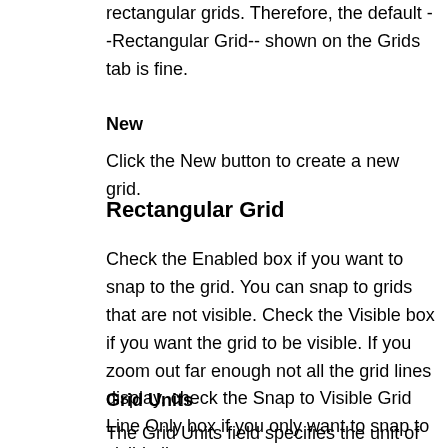rectangular grids. Therefore, the default --Rectangular Grid-- shown on the Grids tab is fine.
New
Click the New button to create a new grid.
Rectangular Grid
Check the Enabled box if you want to snap to the grid. You can snap to grids that are not visible. Check the Visible box if you want the grid to be visible. If you zoom out far enough not all the grid lines display, check the Snap to Visible Grid Line Only box if you only want to snap to visible lines.
Grid Units
The Grid Units field specifies the unit of measure used by your grid.